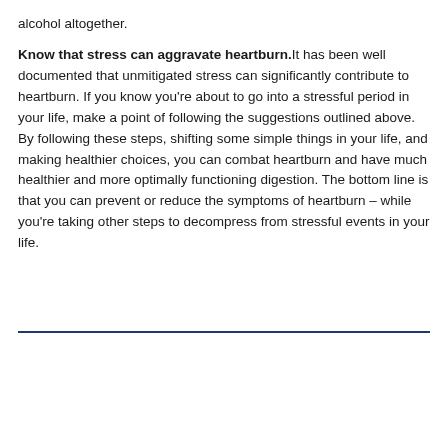alcohol altogether.
Know that stress can aggravate heartburn. It has been well documented that unmitigated stress can significantly contribute to heartburn. If you know you're about to go into a stressful period in your life, make a point of following the suggestions outlined above. By following these steps, shifting some simple things in your life, and making healthier choices, you can combat heartburn and have much healthier and more optimally functioning digestion. The bottom line is that you can prevent or reduce the symptoms of heartburn – while you're taking other steps to decompress from stressful events in your life.